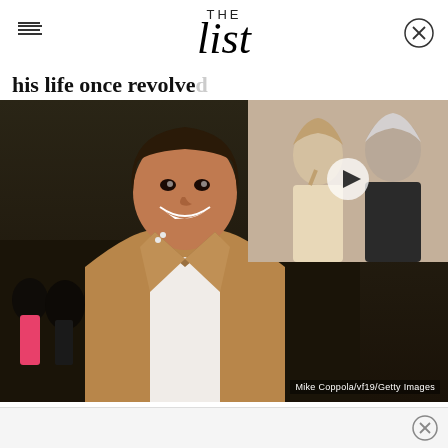THE List
his life once revolved...
[Figure (photo): Anthony Ramos smiling in a tan jacket at an event, with a thumbnail overlay showing two women from a TV show with a play button]
Mike Coppola/vf19/Getty Images
While it's hard to picture Anthony Ramos doing